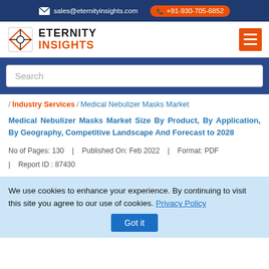sales@eternityinsights.com  +91-930-705-6852
[Figure (logo): Eternity Insights logo with diamond icon and company name]
Search
/ Industry Services / Medical Nebulizer Masks Market
Medical Nebulizer Masks Market Size By Product, By Application, By Geography, Competitive Landscape And Forecast to 2028
No of Pages: 130   |   Published On: Feb 2022   |   Format: PDF   |   Report ID : 87430
We use cookies to enhance your experience. By continuing to visit this site you agree to our use of cookies. Privacy Policy  Got it